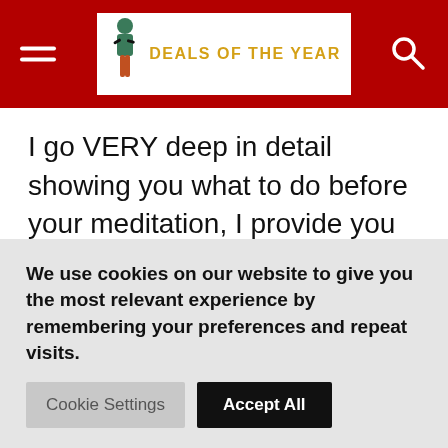DEALS OF THE YEAR
I go VERY deep in detail showing you what to do before your meditation, I provide you with guided meditations that you can download (no need to worry about watching LOUD unwanted ads in the middle of your meditation, or the internet connection being super slooooooooow).
We use cookies on our website to give you the most relevant experience by remembering your preferences and repeat visits.
Cookie Settings   Accept All